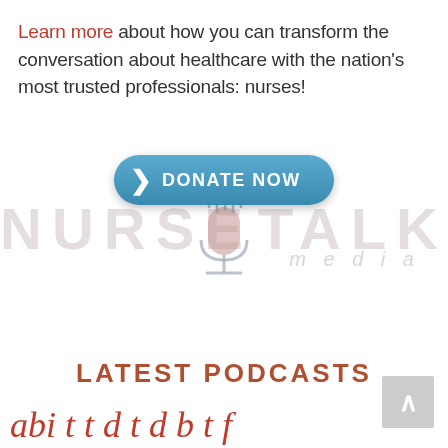Learn more about how you can transform the conversation about healthcare with the nation's most trusted professionals: nurses!
[Figure (logo): Nurse Talk Media logo with microphone icon, shown as a watermark]
[Figure (other): Blue rounded rectangle Donate Now button with chevron arrow]
LATEST PODCASTS
[Figure (other): Back to top button (grey square with up arrow) in bottom right corner]
Partial italic red script text visible at the bottom of the page